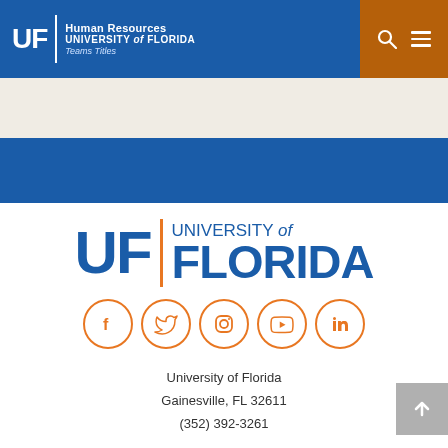UF Human Resources UNIVERSITY of FLORIDA Teams Titles
[Figure (logo): University of Florida Human Resources header logo with UF initials and text]
[Figure (logo): University of Florida main logo — large UF letters with orange divider and UNIVERSITY of FLORIDA text]
[Figure (infographic): Five social media icon circles (Facebook, Twitter, Instagram, YouTube, LinkedIn) in orange]
University of Florida
Gainesville, FL 32611
(352) 392-3261